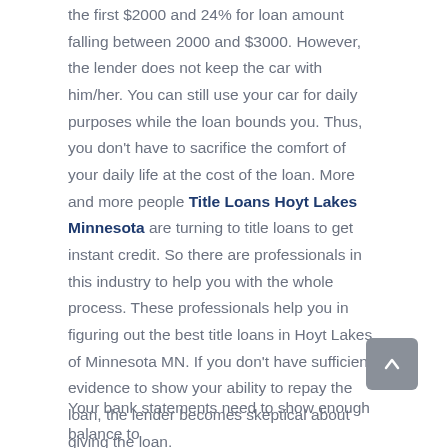the first $2000 and 24% for loan amount falling between 2000 and $3000. However, the lender does not keep the car with him/her. You can still use your car for daily purposes while the loan bounds you. Thus, you don't have to sacrifice the comfort of your daily life at the cost of the loan. More and more people Title Loans Hoyt Lakes Minnesota are turning to title loans to get instant credit. So there are professionals in this industry to help you with the whole process. These professionals help you in figuring out the best title loans in Hoyt Lakes of Minnesota MN. If you don't have sufficient evidence to show your ability to repay the loan, the lender becomes skeptical about giving the loan.
Your bank statements need to show enough balance to